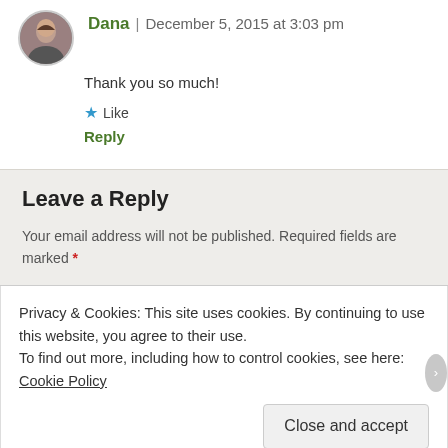Dana | December 5, 2015 at 3:03 pm
Thank you so much!
★ Like
Reply
Leave a Reply
Your email address will not be published. Required fields are marked *
Privacy & Cookies: This site uses cookies. By continuing to use this website, you agree to their use.
To find out more, including how to control cookies, see here: Cookie Policy
Close and accept